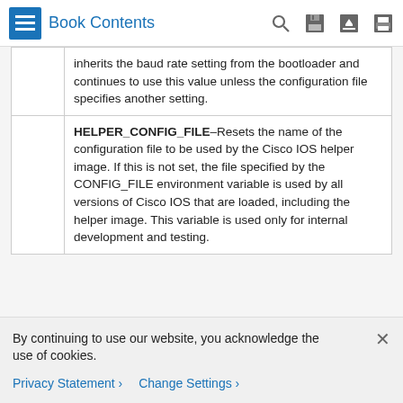Book Contents
|  | inherits the baud rate setting from the bootloader and continues to use this value unless the configuration file specifies another setting. |
|  | HELPER_CONFIG_FILE–Resets the name of the configuration file to be used by the Cisco IOS helper image. If this is not set, the file specified by the CONFIG_FILE environment variable is used by all versions of Cisco IOS that are loaded, including the helper image. This variable is used only for internal development and testing. |
Command Modes
Bootloader
By continuing to use our website, you acknowledge the use of cookies.
Privacy Statement  Change Settings